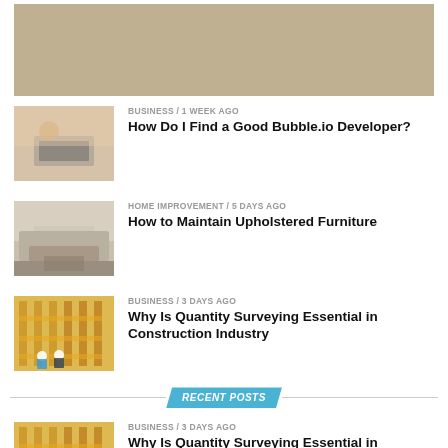[Figure (photo): Partial top article thumbnail, cropped]
[Figure (photo): Person working on laptop]
BUSINESS / 1 week ago
How Do I Find a Good Bubble.io Developer?
[Figure (photo): Interior living room with furniture]
HOME IMPROVEMENT / 5 days ago
How to Maintain Upholstered Furniture
[Figure (photo): Construction workers with scaffolding]
BUSINESS / 3 days ago
Why Is Quantity Surveying Essential in Construction Industry
RECENT POSTS
[Figure (photo): Construction workers with scaffolding]
BUSINESS / 3 days ago
Why Is Quantity Surveying Essential in Construction Industry